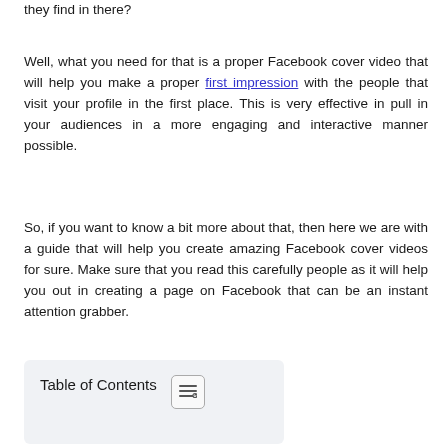they find in there?
Well, what you need for that is a proper Facebook cover video that will help you make a proper first impression with the people that visit your profile in the first place. This is very effective in pull in your audiences in a more engaging and interactive manner possible.
So, if you want to know a bit more about that, then here we are with a guide that will help you create amazing Facebook cover videos for sure. Make sure that you read this carefully people as it will help you out in creating a page on Facebook that can be an instant attention grabber.
Table of Contents